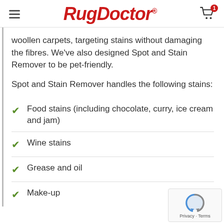RugDoctor
woollen carpets, targeting stains without damaging the fibres. We've also designed Spot and Stain Remover to be pet-friendly.
Spot and Stain Remover handles the following stains:
Food stains (including chocolate, curry, ice cream and jam)
Wine stains
Grease and oil
Make-up